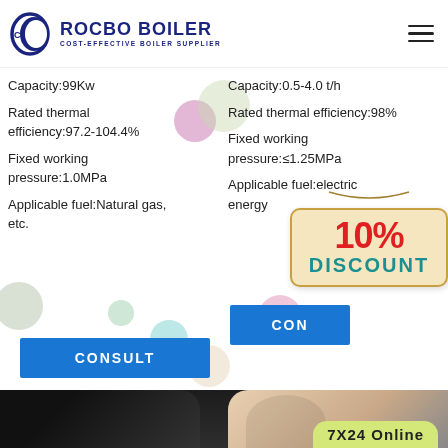[Figure (logo): Rocbo Boiler logo with crescent moon icon and text 'COST-EFFECTIVE BOILER SUPPLIER']
Capacity:99Kw
Rated thermal efficiency:97.2-104.4%
Fixed working pressure:1.0MPa
Applicable fuel:Natural gas, etc.
Capacity:0.5-4.0 t/h
Rated thermal efficiency:98%
Fixed working pressure:≤1.25MPa
Applicable fuel:electric energy
[Figure (other): CONSULT button left column]
[Figure (other): CONSULT button right column (partially visible)]
[Figure (infographic): 10% DISCOUNT promotional sign overlay]
[Figure (photo): Bottom dark section with woman's face partially visible and '7X24 Online' tag]